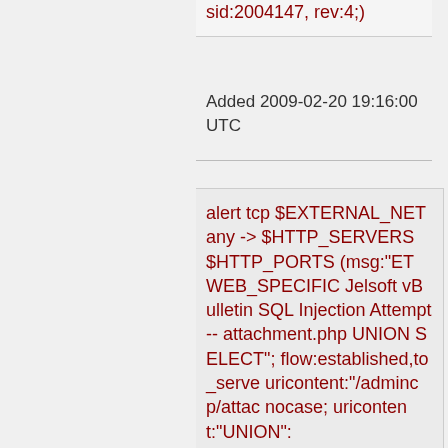sid:2004147, rev:4;)
Added 2009-02-20 19:16:00 UTC
alert tcp $EXTERNAL_NET any -> $HTTP_SERVERS $HTTP_PORTS (msg:"ET WEB_SPECIFIC Jelsoft vBulletin SQL Injection Attempt -- attachment.php UNION SELECT"; flow:established,to_server; uricontent:"/admincp/attac nocase; uricontent:"UNION":